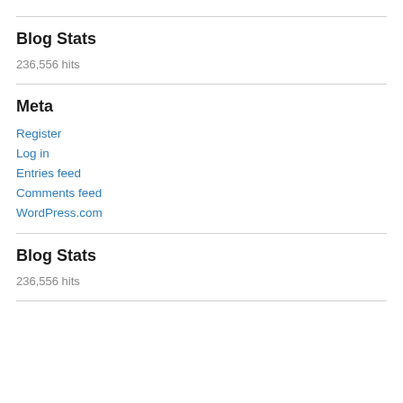Blog Stats
236,556 hits
Meta
Register
Log in
Entries feed
Comments feed
WordPress.com
Blog Stats
236,556 hits